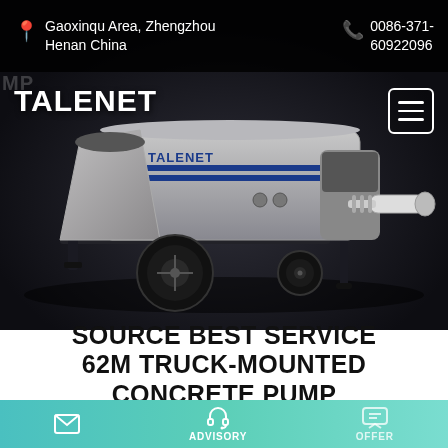Gaoxinqu Area, Zhengzhou Henan China  |  0086-371-60922096
[Figure (photo): A gray concrete pump trailer (truck-mounted concrete pump) with TALENET branding on a dark background. The machine has a large mixing hopper at the rear, black wheels, support legs, and a blue-striped logo on the tank body.]
TALENET
SOURCE BEST SERVICE 62M TRUCK-MOUNTED CONCRETE PUMP
ADVISORY  |  OFFER